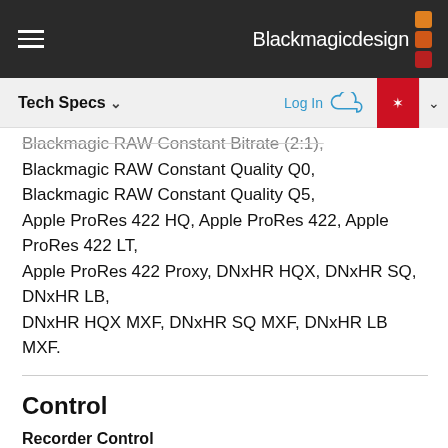Blackmagicdesign
Blackmagic RAW Constant Quality Q0, Blackmagic RAW Constant Quality Q5, Apple ProRes 422 HQ, Apple ProRes 422, Apple ProRes 422 LT, Apple ProRes 422 Proxy, DNxHR HQX, DNxHR SQ, DNxHR LB, DNxHR HQX MXF, DNxHR SQ MXF, DNxHR LB MXF.
Control
Recorder Control
Integrated capacitive touchscreen LCD with onscreen controls for settings and navigating menus.
External Control